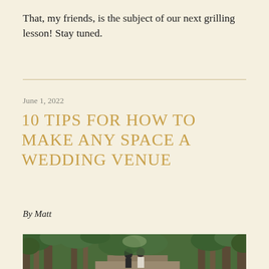That, my friends, is the subject of our next grilling lesson! Stay tuned.
June 1, 2022
10 TIPS FOR HOW TO MAKE ANY SPACE A WEDDING VENUE
By Matt
[Figure (photo): A couple standing outdoors in a lush green forested area with ivy-covered trees, appearing to be at a wedding or outdoor event.]